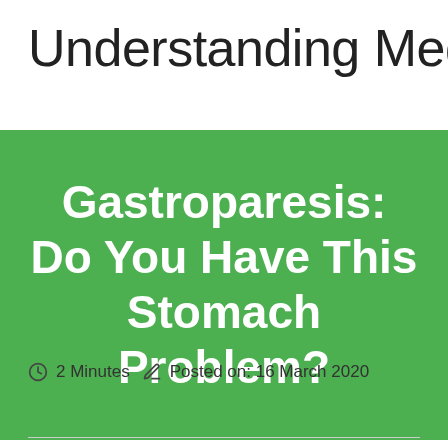Understanding Medical C
Gastroparesis: Do You Have This Stomach Problem?
2 Minutes   Posted on: 16 March 2020